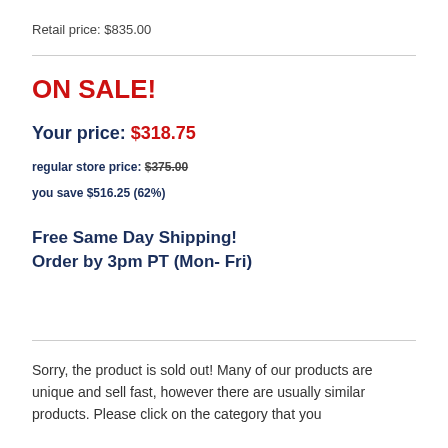Retail price: $835.00
ON SALE!
Your price: $318.75
regular store price: $375.00
you save $516.25 (62%)
Free Same Day Shipping! Order by 3pm PT (Mon- Fri)
Sorry, the product is sold out! Many of our products are unique and sell fast, however there are usually similar products. Please click on the category that you